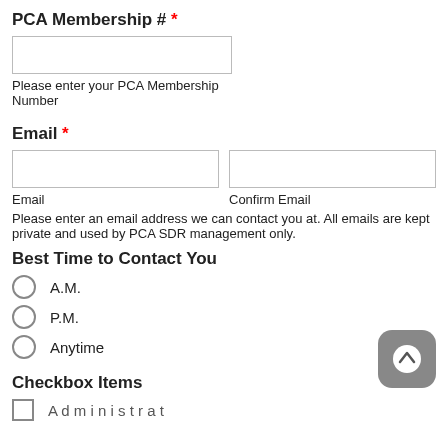PCA Membership # *
Please enter your PCA Membership Number
Email *
Email    Confirm Email
Please enter an email address we can contact you at. All emails are kept private and used by PCA SDR management only.
Best Time to Contact You
A.M.
P.M.
Anytime
Checkbox Items
A d m i n i s t r ...